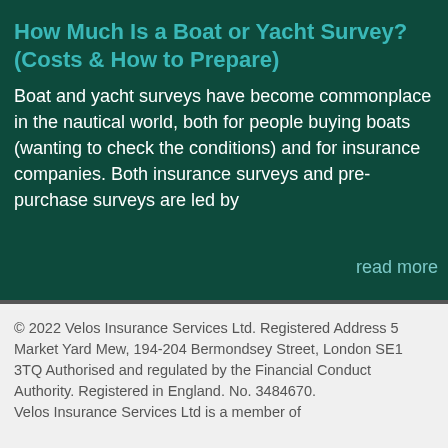How Much Is a Boat or Yacht Survey? (Costs & How to Prepare)
Boat and yacht surveys have become commonplace in the nautical world, both for people buying boats (wanting to check the conditions) and for insurance companies. Both insurance surveys and pre-purchase surveys are led by
read more
© 2022 Velos Insurance Services Ltd. Registered Address 5 Market Yard Mew, 194-204 Bermondsey Street, London SE1 3TQ Authorised and regulated by the Financial Conduct Authority. Registered in England. No. 3484670. Velos Insurance Services Ltd is a member of